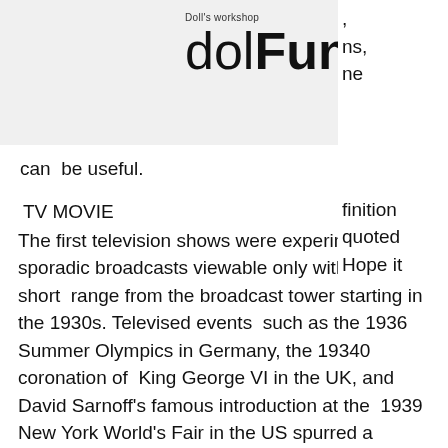[Figure (logo): dolFun! logo with 'Doll's workshop' text above, grey background header bar]
ns,
ne
finition
quoted
Hope it can be useful.
TV MOVIE
The first television shows were experimental, sporadic broadcasts viewable only within a very short range from the broadcast tower starting in the 1930s. Televised events such as the 1936 Summer Olympics in Germany, the 19340 coronation of King George VI in the UK, and David Sarnoff's famous introduction at the 1939 New York World's Fair in the US spurred a growth in the medium, but World War II put a halt to development until after the war. The